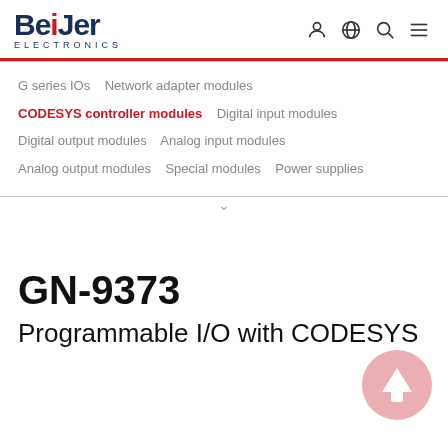[Figure (logo): Beijer Electronics logo with red dot on the i]
[Figure (infographic): Navigation icons: person/account, globe, search, hamburger menu]
G series IOs   Network adapter modules   CODESYS controller modules   Digital input modules   Digital output modules   Analog input modules   Analog output modules   Special modules   Power supplies
GN-9373
Programmable I/O with CODESYS
[Figure (infographic): Pink/rose colored circular scroll-to-top button with upward arrow]